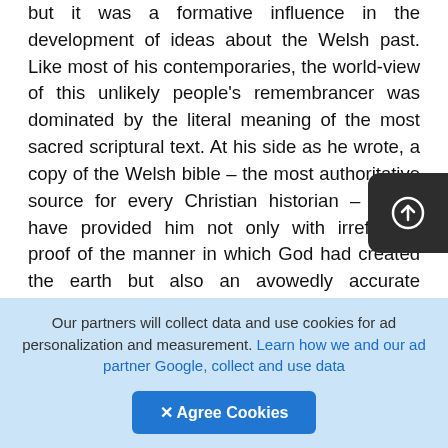but it was a formative influence in the development of ideas about the Welsh past. Like most of his contemporaries, the world-view of this unlikely people's remembrancer was dominated by the literal meaning of the most sacred scriptural text. At his side as he wrote, a copy of the Welsh bible – the most authoritative source for every Christian historian – would have provided him not only with irrefutable proof of the manner in which God had created the earth but also an avowedly accurate chronology of the past. Taking his cue from the calculations made by James Ussher, Archbishop of Armagh in the early seventeenth century, he believed that the Creation had occurred in 4004 B C . Had he read John Lightfoot, the Cambridge scholar, he would also have noted the precise time
Our partners will collect data and use cookies for ad personalization and measurement. Learn how we and our ad partner Google, collect and use data